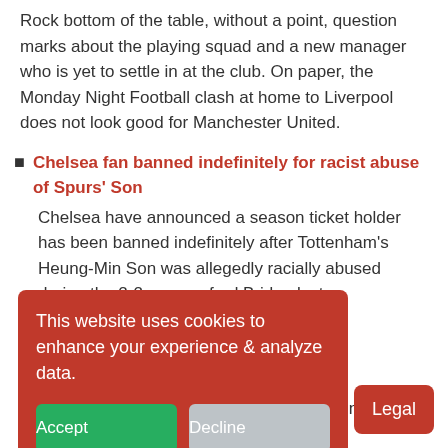Rock bottom of the table, without a point, question marks about the playing squad and a new manager who is yet to settle in at the club. On paper, the Monday Night Football clash at home to Liverpool does not look good for Manchester United.
Chelsea fan banned indefinitely for racist abuse of Spurs' Son
Chelsea have announced a season ticket holder has been banned indefinitely after Tottenham's Heung-Min Son was allegedly racially abused during the 2-2 ...nford Bridge last
...ed Arsenal | Smith: He's
...ent" Gabriel Jesus has ...tandards settin... example for the rest of the squad.
This website uses cookies to enhance your experience & analyze data.
Accept
Decline
Legal